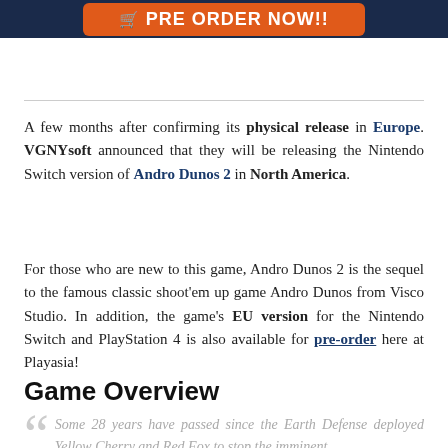[Figure (other): Dark navy header bar with orange PRE ORDER NOW! button]
A few months after confirming its physical release in Europe. VGNYsoft announced that they will be releasing the Nintendo Switch version of Andro Dunos 2 in North America.
For those who are new to this game, Andro Dunos 2 is the sequel to the famous classic shoot'em up game Andro Dunos from Visco Studio. In addition, the game's EU version for the Nintendo Switch and PlayStation 4 is also available for pre-order here at Playasia!
Game Overview
Some 28 years have passed since the Earth Defense deployed Yellow Cherry and Red Fox to stop the imminent